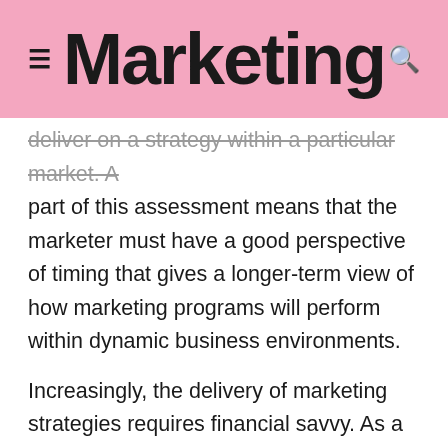Marketing
deliver on a strategy within a particular market. A part of this assessment means that the marketer must have a good perspective of timing that gives a longer-term view of how marketing programs will perform within dynamic business environments.
Increasingly, the delivery of marketing strategies requires financial savvy. As a marketer grows professionally, they must manage profitability and balance sheets and have the ability to discuss financial issues with their chief financial officer.
This means that CMOs need to have a holistic picture of what is happening in the business and in